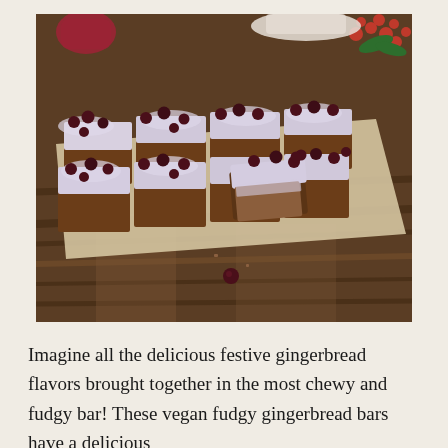[Figure (photo): A tray of vegan fudgy gingerbread bars cut into squares, topped with white frosting and fresh dark cranberries, placed on parchment paper on a rustic wooden table. In the background there are holiday decorations including red berries and a white plate with a sample bar. The bars have a dark brown fudgy interior visible where one piece is turned on its side.]
Imagine all the delicious festive gingerbread flavors brought together in the most chewy and fudgy bar! These vegan fudgy gingerbread bars have a delicious